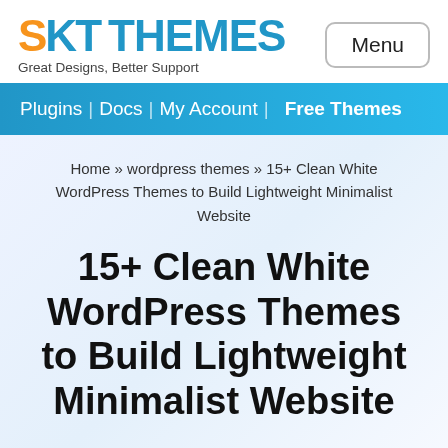[Figure (logo): SKT Themes logo with orange S, blue KT, and blue THEMES text, tagline: Great Designs, Better Support]
Menu
Plugins | Docs | My Account | Free Themes
Home » wordpress themes » 15+ Clean White WordPress Themes to Build Lightweight Minimalist Website
15+ Clean White WordPress Themes to Build Lightweight Minimalist Website